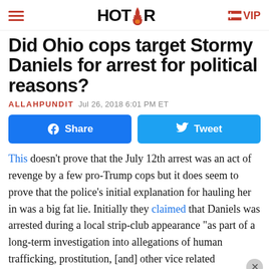HOT AIR  VIP
Did Ohio cops target Stormy Daniels for arrest for political reasons?
ALLAHPUNDIT  Jul 26, 2018 6:01 PM ET
[Figure (other): Facebook Share button and Twitter Tweet button]
This doesn't prove that the July 12th arrest was an act of revenge by a few pro-Trump cops but it does seem to prove that the police's initial explanation for hauling her in was a big fat lie. Initially they claimed that Daniels was arrested during a local strip-club appearance "as part of a long-term investigation into allegations of human trafficking, prostitution, [and] other vice related violations". That made it sound like the police had that